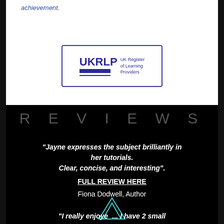achievement.
[Figure (logo): UKRLP UK Register of Learning Providers logo with blue text and bar]
REVIEWS
"Jayne expresses the subject brilliantly in her tutorials. Clear, concise, and interesting".
FULL REVIEW HERE
Fiona Dodwell, Author
[Figure (illustration): Teal/cyan double triangle outline logo graphic]
"I really enjoyed... I have 2 small